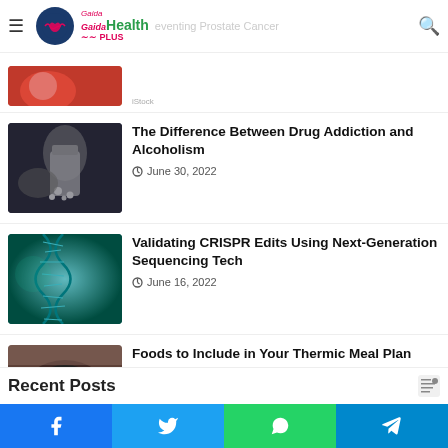Gaida Health PLUS — Preventing Prostate Cancer
[Figure (photo): Partial view of a medical/health image cropped at top]
The Difference Between Drug Addiction and Alcoholism
June 30, 2022
[Figure (photo): Photo of prescription pills spilling from a bottle on a table]
Validating CRISPR Edits Using Next-Generation Sequencing Tech
June 16, 2022
[Figure (photo): Digital illustration of a DNA double helix in teal/blue tones]
Foods to Include in Your Thermic Meal Plan
May 29, 2022
[Figure (photo): Overhead photo of a colorful food bowl with grains, vegetables, and herbs]
Recent Posts
Facebook | Twitter | WhatsApp | Telegram